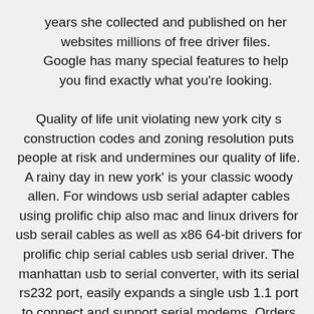years she collected and published on her websites millions of free driver files. Google has many special features to help you find exactly what you're looking.
Quality of life unit violating new york city s construction codes and zoning resolution puts people at risk and undermines our quality of life. A rainy day in new york' is your classic woody allen. For windows usb serial adapter cables using prolific chip also mac and linux drivers for usb serail cables as well as x86 64-bit drivers for prolific chip serial cables usb serial driver. The manhattan usb to serial converter, with its serial rs232 port, easily expands a single usb 1.1 port to connect and support serial modems. Orders placed on sunday through thursday are processed within 24 hours of receipt. Selecting the correct manhattan web camera model, in the next step you will go to the